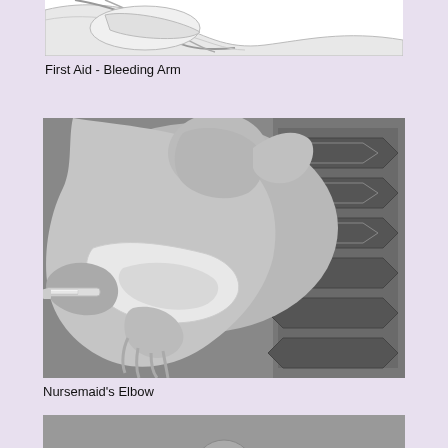[Figure (illustration): Partial view of a first aid illustration showing a bleeding arm, cropped at top of page]
First Aid - Bleeding Arm
[Figure (photo): Black and white photograph of an infant showing Nursemaid's Elbow condition, with the baby's torso visible and a patterned blanket in the background]
Nursemaid's Elbow
[Figure (photo): Partial black and white photograph at the bottom of the page, partially cropped]